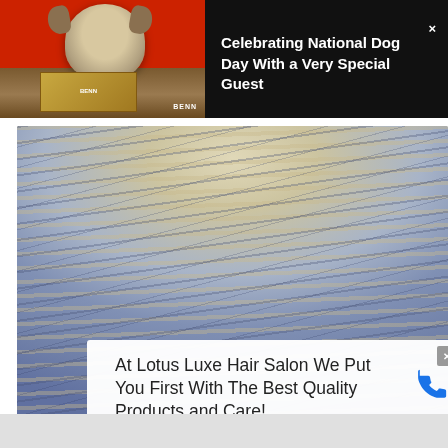[Figure (photo): Top banner with dark/black background showing a small Yorkshire Terrier dog on a red background on the left side, and a bold white text title on the right. A close button (×) is in the top right corner.]
Celebrating National Dog Day With a Very Special Guest
[Figure (photo): Close-up photo of a hairstyle showing a blonde and blue/silver highlighted bob haircut from behind, with distinct lowlights creating a dimensional color effect against a blurred grey background.]
At Lotus Luxe Hair Salon We Put You First With The Best Quality Products and Care!